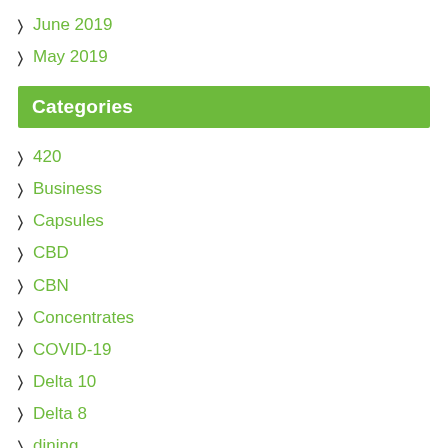June 2019
May 2019
Categories
420
Business
Capsules
CBD
CBN
Concentrates
COVID-19
Delta 10
Delta 8
dining
Dispensaries